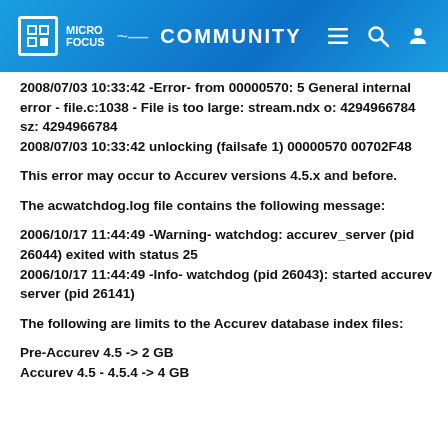MICRO FOCUS COMMUNITY
2008/07/03 10:33:42 -Error- from 00000570: 5 General internal error - file.c:1038 - File is too large: stream.ndx o: 4294966784 sz: 4294966784
2008/07/03 10:33:42 unlocking (failsafe 1) 00000570 00702F48
This error may occur to Accurev versions 4.5.x and before.
The acwatchdog.log file contains the following message:
2006/10/17 11:44:49 -Warning- watchdog: accurev_server (pid 26044) exited with status 25
2006/10/17 11:44:49 -Info- watchdog (pid 26043): started accurev server (pid 26141)
The following are limits to the Accurev database index files:
Pre-Accurev 4.5 -> 2 GB
Accurev 4.5 - 4.5.4 -> 4 GB